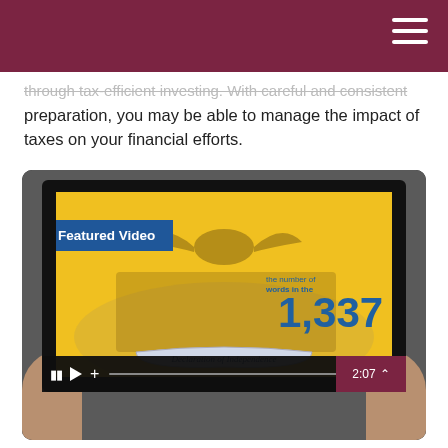through tax-efficient investing. With careful and consistent preparation, you may be able to manage the impact of taxes on your financial efforts.
[Figure (screenshot): A tablet device being held by two hands displays a video still showing a historical illustration related to the Declaration of Independence with the number 1,337, and a 'Featured Video' badge overlay. Video controls are visible at the bottom showing pause, play, plus, a progress bar, timestamp 2:07, and a chevron icon.]